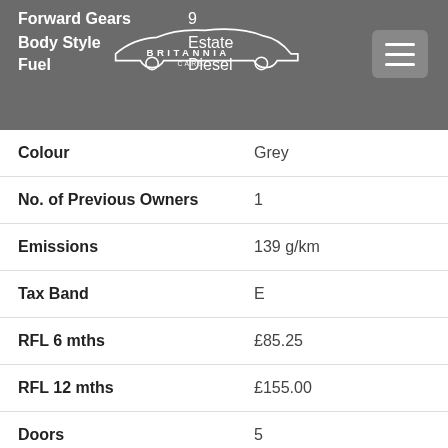[Figure (logo): Britannia Cars logo with car silhouette outline on dark grey header bar]
| Attribute | Value |
| --- | --- |
| Forward Gears | 9 |
| Body Style | Estate |
| Fuel | Diesel |
| Colour | Grey |
| No. of Previous Owners | 1 |
| Emissions | 139 g/km |
| Tax Band | E |
| RFL 6 mths | £85.25 |
| RFL 12 mths | £155.00 |
| Doors | 5 |
| Seats | 7 |
| Engine Size | 1999cc |